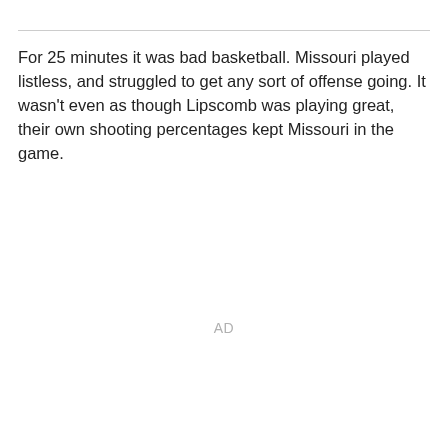For 25 minutes it was bad basketball. Missouri played listless, and struggled to get any sort of offense going. It wasn't even as though Lipscomb was playing great, their own shooting percentages kept Missouri in the game.
AD